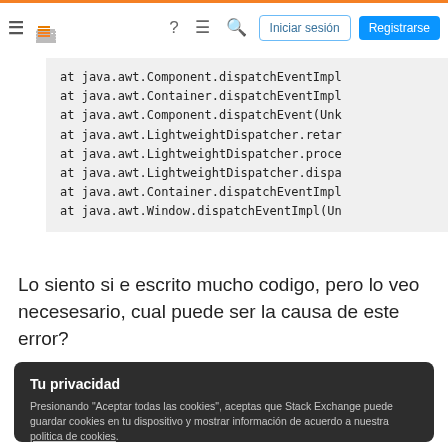Stack Overflow navigation bar with hamburger menu, logo, help, chat, search icons, Iniciar sesión and Registrarse buttons
at java.awt.Component.dispatchEventImpl
    at java.awt.Container.dispatchEventImpl
    at java.awt.Component.dispatchEvent(Unk
    at java.awt.LightweightDispatcher.retar
    at java.awt.LightweightDispatcher.proce
    at java.awt.LightweightDispatcher.dispa
    at java.awt.Container.dispatchEventImpl
    at java.awt.Window.dispatchEventImpl(Un
Lo siento si e escrito mucho codigo, pero lo veo necesesario, cual puede ser la causa de este error?
Tu privacidad
Presionando "Aceptar todas las cookies", aceptas que Stack Exchange puede guardar cookies en tu dispositivo y mostrar información de acuerdo a nuestra politica de cookies.
Aceptar todas las cookies
Personalizar las configuraciones